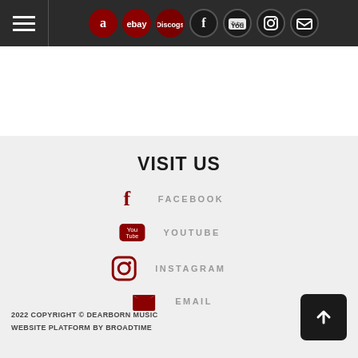[Figure (screenshot): Website header navigation bar with hamburger menu and social media icons (Amazon, eBay, Discogs, Facebook, YouTube, Instagram, Email)]
VISIT US
FACEBOOK
YOUTUBE
INSTAGRAM
EMAIL
2022 COPYRIGHT © DEARBORN MUSIC
WEBSITE PLATFORM BY BROADTIME